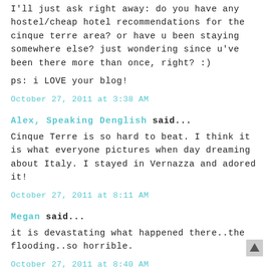I'll just ask right away: do you have any hostel/cheap hotel recommendations for the cinque terre area? or have u been staying somewhere else? just wondering since u've been there more than once, right? :)
ps: i LOVE your blog!
October 27, 2011 at 3:38 AM
Alex, Speaking Denglish said...
Cinque Terre is so hard to beat. I think it is what everyone pictures when day dreaming about Italy. I stayed in Vernazza and adored it!
October 27, 2011 at 8:11 AM
Megan said...
it is devastating what happened there..the flooding..so horrible.
October 27, 2011 at 8:40 AM
Jenni Austria Germany said...
@sarah, every time i stay in the same place (Ostello